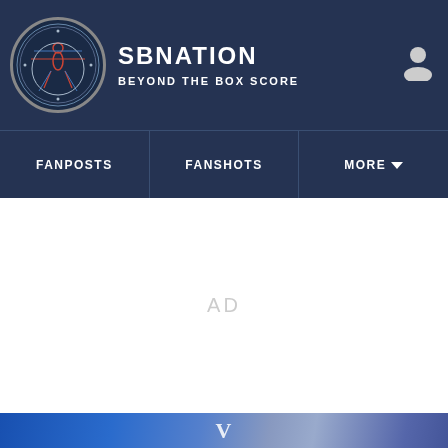SBNATION | BEYOND THE BOX SCORE
FANPOSTS
FANSHOTS
MORE
AD
[Figure (photo): Sports photo at bottom of page, showing blue jersey with letter V]